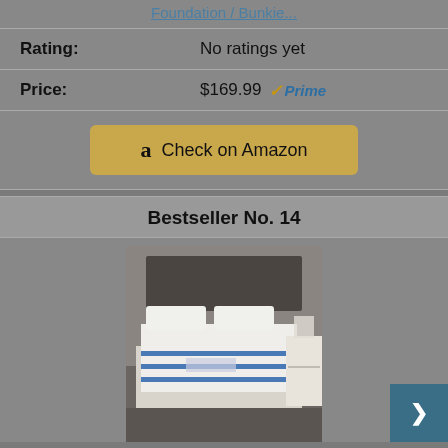Foundation / Bunkie...
| Rating: | No ratings yet |
| Price: | $169.99  ✓Prime |
Check on Amazon
Bestseller No. 14
[Figure (photo): Product photo of a mattress on a bed frame in a bedroom setting]